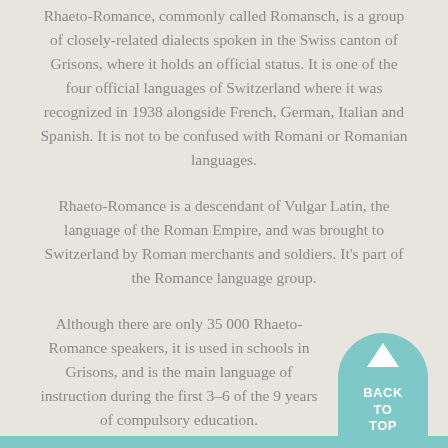Rhaeto-Romance, commonly called Romansch, is a group of closely-related dialects spoken in the Swiss canton of Grisons, where it holds an official status. It is one of the four official languages of Switzerland where it was recognized in 1938 alongside French, German, Italian and Spanish. It is not to be confused with Romani or Romanian languages.
Rhaeto-Romance is a descendant of Vulgar Latin, the language of the Roman Empire, and was brought to Switzerland by Roman merchants and soldiers. It's part of the Romance language group.
Although there are only 35 000 Rhaeto-Romance speakers, it is used in schools in Grisons, and is the main language of instruction during the first 3–6 of the 9 years of compulsory education.